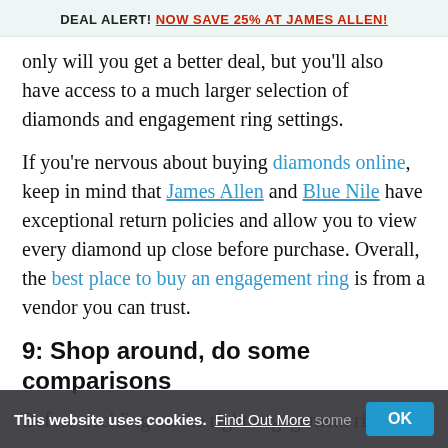DEAL ALERT! NOW SAVE 25% AT JAMES ALLEN!
only will you get a better deal, but you'll also have access to a much larger selection of diamonds and engagement ring settings.
If you're nervous about buying diamonds online, keep in mind that James Allen and Blue Nile have exceptional return policies and allow you to view every diamond up close before purchase. Overall, the best place to buy an engagement ring is from a vendor you can trust.
9: Shop around, do some comparisons
Before deciding on the right engagement ring for some comparisons. Do a c...
This website uses cookies. Find Out More OK